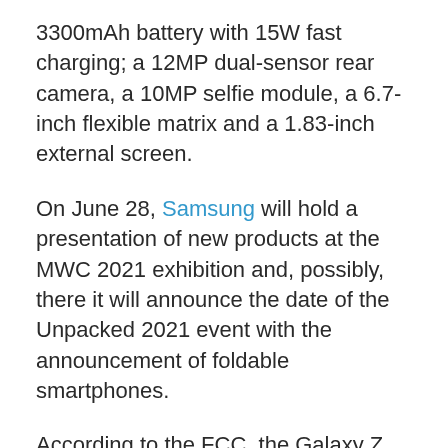3300mAh battery with 15W fast charging; a 12MP dual-sensor rear camera, a 10MP selfie module, a 6.7-inch flexible matrix and a 1.83-inch external screen.
On June 28, Samsung will hold a presentation of new products at the MWC 2021 exhibition and, possibly, there it will announce the date of the Unpacked 2021 event with the announcement of foldable smartphones.
According to the FCC, the Galaxy Z Fold 3 will receive the model number SM-F926U. The regulator’s documents confirm that the device will support the S-Pen stylus. From other sources, it became known that the device will be deprived of the stylus slot. But, according to the FCC, the new S-Pen will...